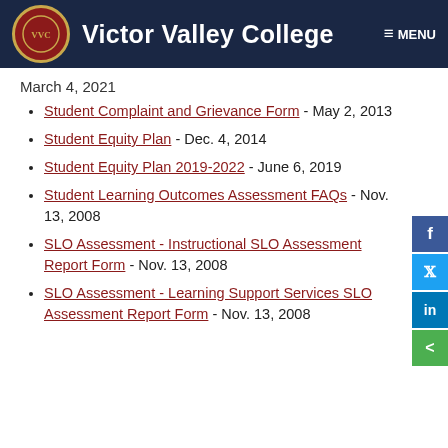Victor Valley College
March 4, 2021
Student Complaint and Grievance Form - May 2, 2013
Student Equity Plan - Dec. 4, 2014
Student Equity Plan 2019-2022 - June 6, 2019
Student Learning Outcomes Assessment FAQs - Nov. 13, 2008
SLO Assessment - Instructional SLO Assessment Report Form - Nov. 13, 2008
SLO Assessment - Learning Support Services SLO Assessment Report Form - Nov. 13, 2008